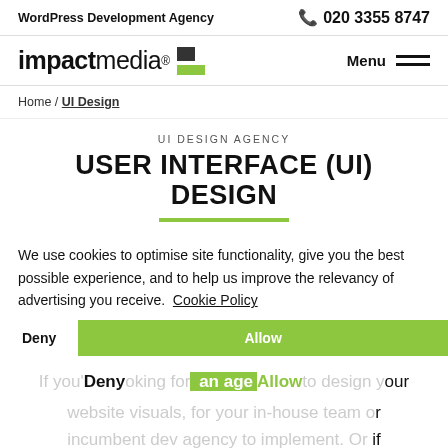WordPress Development Agency | 020 3355 8747
[Figure (logo): impactmedia logo with green and dark square icons]
Home / UI Design
UI DESIGN AGENCY
USER INTERFACE (UI) DESIGN
We use cookies to optimise site functionality, give you the best possible experience, and to help us improve the relevancy of advertising you receive. Cookie Policy
Deny | Allow
If you're looking for an agency to design your website visuals, for your in-house team or incumbent dev agency to implement. Or if